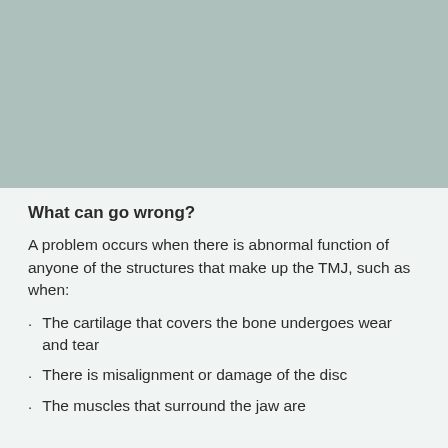[Figure (photo): Muted teal/sage green background image placeholder at the top of the page]
What can go wrong?
A problem occurs when there is abnormal function of anyone of the structures that make up the TMJ, such as when:
The cartilage that covers the bone undergoes wear and tear
There is misalignment or damage of the disc
The muscles that surround the jaw are